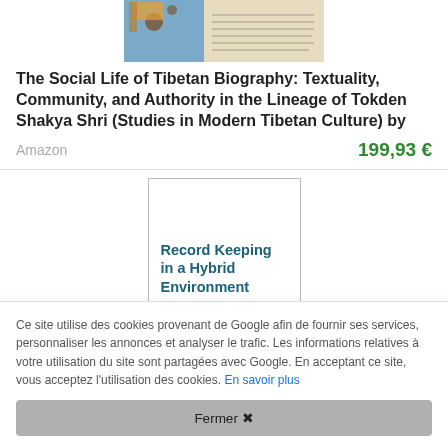[Figure (photo): Partial view of a book cover showing Tibetan manuscript and decorative elements]
The Social Life of Tibetan Biography: Textuality, Community, and Authority in the Lineage of Tokden Shakya Shri (Studies in Modern Tibetan Culture) by
Amazon
199,93 €
[Figure (photo): Book cover of Record Keeping in a Hybrid Environment: Managing the creation, use, preservation and disposal of unpublished information]
Ce site utilise des cookies provenant de Google afin de fournir ses services, personnaliser les annonces et analyser le trafic. Les informations relatives à votre utilisation du site sont partagées avec Google. En acceptant ce site, vous acceptez l'utilisation des cookies. En savoir plus
Fermer ✖